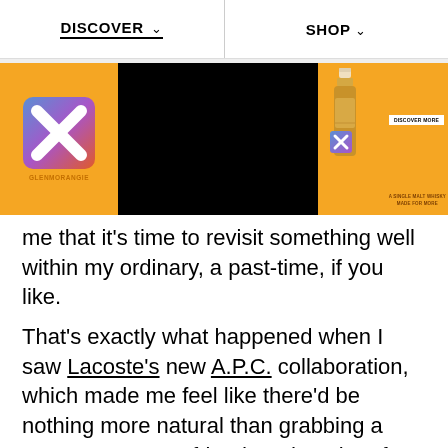DISCOVER  SHOP
[Figure (photo): Glenmorangie advertisement banner with orange background, an X logo on the left, a black video player in the center with mute icon, and a whisky bottle on the right with 'DISCOVER MORE' button and tagline 'A SINGLE MALT WHISKY MADE FOR MORE']
me that it's time to revisit something well within my ordinary, a past-time, if you like.
That's exactly what happened when I saw Lacoste's new A.P.C. collaboration, which made me feel like there'd be nothing more natural than grabbing a racquet, a sporty friend, and a tube of balls and heading to my local tennis court for some pure, unfiltered, Wimbledon-style action.